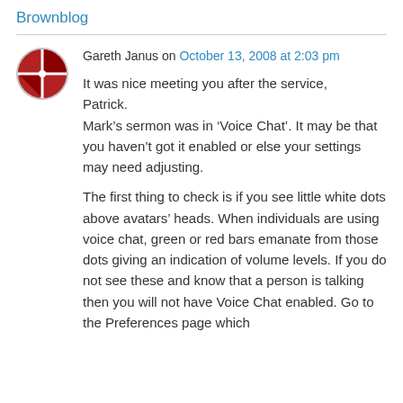Brownblog
Gareth Janus on October 13, 2008 at 2:03 pm
It was nice meeting you after the service, Patrick.
Mark's sermon was in ‘Voice Chat’. It may be that you haven’t got it enabled or else your settings may need adjusting.

The first thing to check is if you see little white dots above avatars’ heads. When individuals are using voice chat, green or red bars emanate from those dots giving an indication of volume levels. If you do not see these and know that a person is talking then you will not have Voice Chat enabled. Go to the Preferences page which